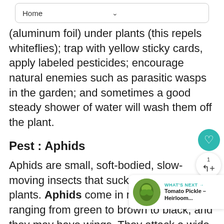Home
(aluminum foil) under plants (this repels whiteflies); trap with yellow sticky cards, apply labeled pesticides; encourage natural enemies such as parasitic wasps in the garden; and sometimes a good steady shower of water will wash them off the plant.
Pest : Aphids
Aphids are small, soft-bodied, slow-moving insects that suck fluids from plants. Aphids come in many colors, ranging from green to brown to black, and they may have wings. They attack a wide range of plant species causing stunting, deformed leaves and buds.